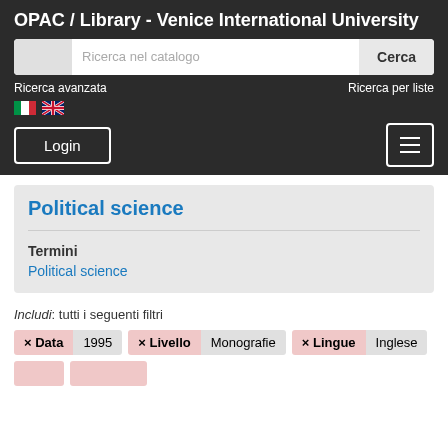OPAC / Library - Venice International University
Ricerca nel catalogo
Cerca
Ricerca avanzata
Ricerca per liste
Login
Political science
Termini
Political science
Includi: tutti i seguenti filtri
× Data 1995 × Livello Monografie × Lingue Inglese